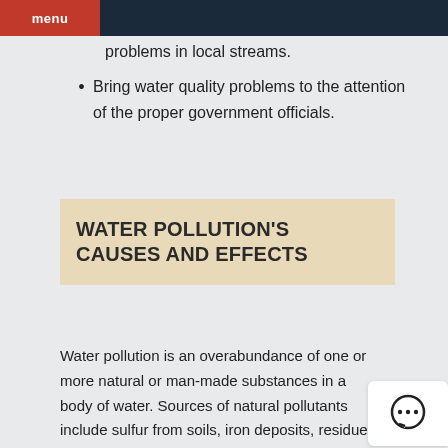Menu
problems in local streams.
Bring water quality problems to the attention of the proper government officials.
WATER POLLUTION'S CAUSES AND EFFECTS
Water pollution is an overabundance of one or more natural or man-made substances in a body of water. Sources of natural pollutants include sulfur from soils, iron deposits, residue from volcanic springs, calcium, and tannic acid and methane gas from marshlands. The two